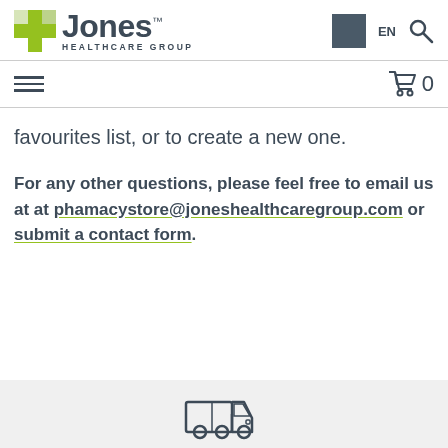[Figure (logo): Jones Healthcare Group logo with green cross icon and dark text]
favourites list, or to create a new one.
For any other questions, please feel free to email us at at phamacystore@joneshealthcaregroup.com or submit a contact form.
[Figure (illustration): Delivery truck icon in a light grey banner at the bottom]